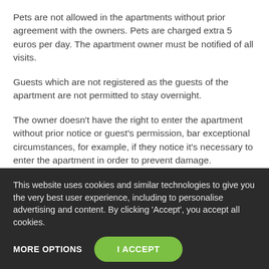Pets are not allowed in the apartments without prior agreement with the owners. Pets are charged extra 5 euros per day. The apartment owner must be notified of all visits.
Guests which are not registered as the guests of the apartment are not permitted to stay overnight.
The owner doesn't have the right to enter the apartment without prior notice or guest's permission, bar exceptional circumstances, for example, if they notice it's necessary to enter the apartment in order to prevent damage.
On the day of departure the guests must vacate the accommodation by 10 a.m., otherwise they will be charged an
This website uses cookies and similar technologies to give you the very best user experience, including to personalise advertising and content. By clicking 'Accept', you accept all cookies.
MORE OPTIONS
I ACCEPT